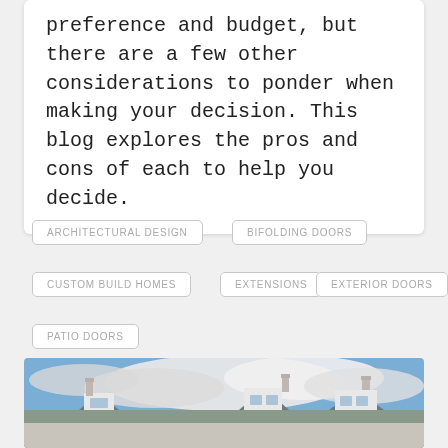preference and budget, but there are a few other considerations to ponder when making your decision. This blog explores the pros and cons of each to help you decide.
ARCHITECTURAL DESIGN
BIFOLDING DOORS
CUSTOM BUILD HOMES
EXTENSIONS
EXTERIOR DOORS
PATIO DOORS
[Figure (photo): Photo of a row of dormer-windowed houses with grey slate roofs and white cladding against a blue sky with clouds]